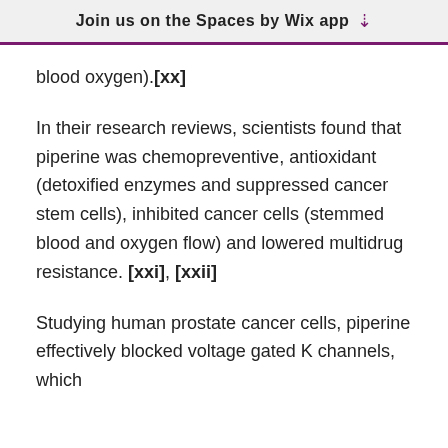Join us on the Spaces by Wix app
blood oxygen).[xx]
In their research reviews, scientists found that piperine was chemopreventive, antioxidant (detoxified enzymes and suppressed cancer stem cells), inhibited cancer cells (stemmed blood and oxygen flow) and lowered multidrug resistance. [xxi], [xxii]
Studying human prostate cancer cells, piperine effectively blocked voltage gated K channels, which